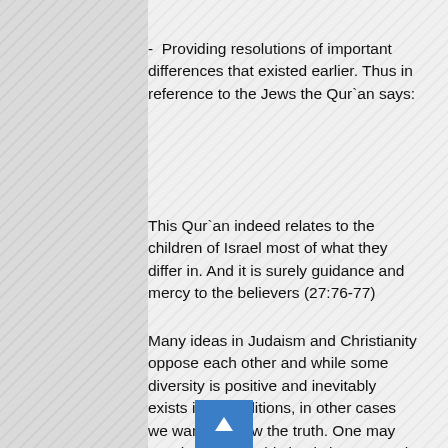-  Providing resolutions of important differences that existed earlier. Thus in reference to the Jews the Qur`an says:
This Qur`an indeed relates to the children of Israel most of what they differ in. And it is surely guidance and mercy to the believers (27:76-77)
Many ideas in Judaism and Christianity oppose each other and while some diversity is positive and inevitably exists in all traditions, in other cases we want to know the truth. One may say that we should simply leave people to choose which of the opposing ideas are true. But if people were so smart why is there any need of divine revelation at all? If there is God and he communicates with humanity through revelation, then we should expect that at least in some important matters such as whether there is resurrection or not, he would provide some guidance.